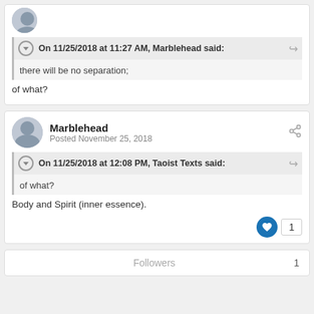On 11/25/2018 at 11:27 AM, Marblehead said:
there will be no separation;
of what?
Marblehead
Posted November 25, 2018
On 11/25/2018 at 12:08 PM, Taoist Texts said:
of what?
Body and Spirit (inner essence).
Followers 1